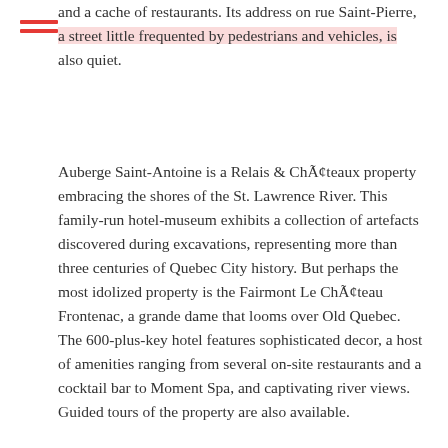and a cache of restaurants. Its address on rue Saint-Pierre, a street little frequented by pedestrians and vehicles, is also quiet.
Auberge Saint-Antoine is a Relais & Châteaux property embracing the shores of the St. Lawrence River. This family-run hotel-museum exhibits a collection of artefacts discovered during excavations, representing more than three centuries of Quebec City history. But perhaps the most idolized property is the Fairmont Le Château Frontenac, a grande dame that looms over Old Quebec. The 600-plus-key hotel features sophisticated decor, a host of amenities ranging from several on-site restaurants and a cocktail bar to Moment Spa, and captivating river views. Guided tours of the property are also available.